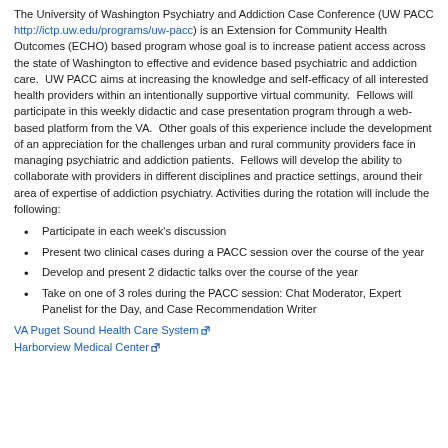The University of Washington Psychiatry and Addiction Case Conference (UW PACC http://ictp.uw.edu/programs/uw-pacc) is an Extension for Community Health Outcomes (ECHO) based program whose goal is to increase patient access across the state of Washington to effective and evidence based psychiatric and addiction care.  UW PACC aims at increasing the knowledge and self-efficacy of all interested health providers within an intentionally supportive virtual community.  Fellows will participate in this weekly didactic and case presentation program through a web-based platform from the VA.  Other goals of this experience include the development of an appreciation for the challenges urban and rural community providers face in managing psychiatric and addiction patients.  Fellows will develop the ability to collaborate with providers in different disciplines and practice settings, around their area of expertise of addiction psychiatry. Activities during the rotation will include the following:
Participate in each week's discussion
Present two clinical cases during a PACC session over the course of the year
Develop and present 2 didactic talks over the course of the year
Take on one of 3 roles during the PACC session: Chat Moderator, Expert Panelist for the Day, and Case Recommendation Writer
VA Puget Sound Health Care System
Harborview Medical Center